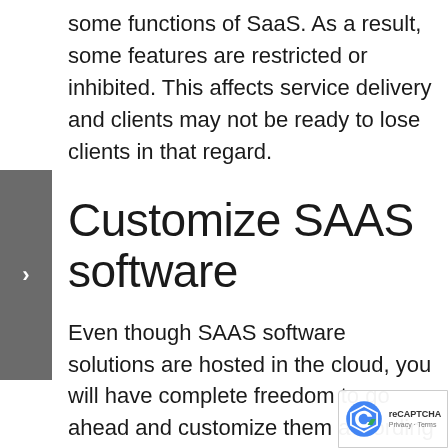some functions of SaaS. As a result, some features are restricted or inhibited. This affects service delivery and clients may not be ready to lose clients in that regard.
Customize SAAS software
Even though SAAS software solutions are hosted in the cloud, you will have complete freedom to go ahead and customize them according to the needs you have. The SAAS solutions are providing a high level of customizability for you. You will be provided the chance to customize the user interface so that you can change the overall look and feel of the software. On the